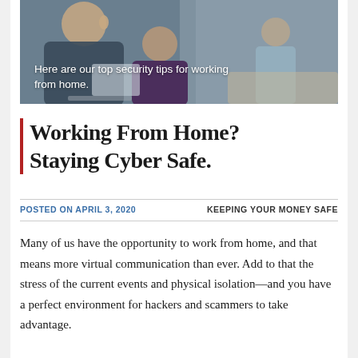[Figure (photo): Photo of a woman talking on the phone while a child uses a tablet, with another child visible in the background, in a home setting. Overlaid white text reads: 'Here are our top security tips for working from home.']
Working From Home? Staying Cyber Safe.
POSTED ON APRIL 3, 2020     KEEPING YOUR MONEY SAFE
Many of us have the opportunity to work from home, and that means more virtual communication than ever. Add to that the stress of the current events and physical isolation—and you have a perfect environment for hackers and scammers to take advantage.